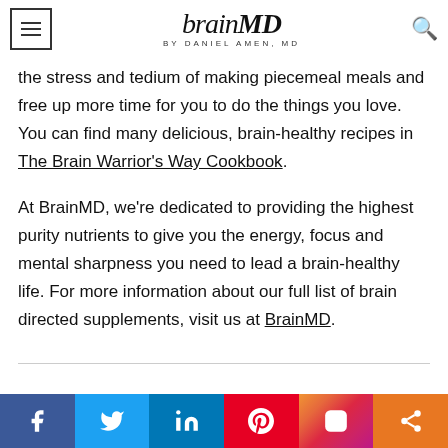BrainMD by Daniel Amen, MD
the stress and tedium of making piecemeal meals and free up more time for you to do the things you love. You can find many delicious, brain-healthy recipes in The Brain Warrior's Way Cookbook.
At BrainMD, we're dedicated to providing the highest purity nutrients to give you the energy, focus and mental sharpness you need to lead a brain-healthy life. For more information about our full list of brain directed supplements, visit us at BrainMD.
[Figure (infographic): Social media sharing bar with Facebook, Twitter, LinkedIn, Pinterest, Instagram, and share icons]